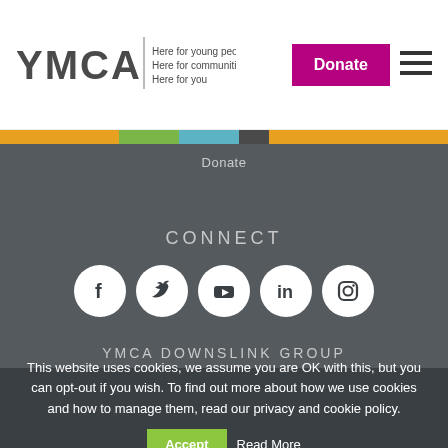[Figure (logo): YMCA logo with text 'Here for young people Here for communities Here for you']
Donate
[Figure (other): Hamburger menu icon (three horizontal lines)]
[Figure (infographic): Multicolor bar: orange, green, teal, dark, orange]
Donate
CONNECT
[Figure (other): Social media icons: Facebook, Twitter, YouTube, LinkedIn, Instagram — white circles on dark background]
YMCA DOWNSLINK GROUP
This website uses cookies, we assume you are OK with this, but you can opt-out if you wish. To find out more about how we use cookies and how to manage them, read our privacy and cookie policy.
Accept
Read More